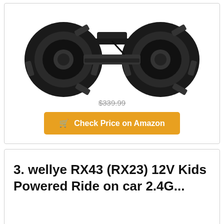[Figure (photo): Bottom undercarriage view of a black kids ride-on ATV/car with large knobby black tires visible, white background]
$339.99
Check Price on Amazon
3. wellye RX43 (RX23) 12V Kids Powered Ride on car 2.4G...